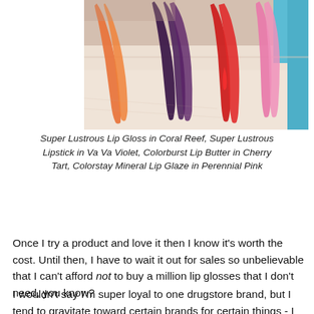[Figure (photo): A close-up photo of four lipstick/lip gloss swatches on pale skin: orange-coral, dark purple/violet, bright red, and pink.]
Super Lustrous Lip Gloss in Coral Reef, Super Lustrous Lipstick in Va Va Violet, Colorburst Lip Butter in Cherry Tart, Colorstay Mineral Lip Glaze in Perennial Pink
Once I try a product and love it then I know it's worth the cost. Until then, I have to wait it out for sales so unbelievable that I can't afford not to buy a million lip glosses that I don't need, you know?
I wouldn't say I'm super loyal to one drugstore brand, but I tend to gravitate toward certain brands for certain things - I like Revlon lip stuff and eyeliners, Covergirl mascara, Maybelline for